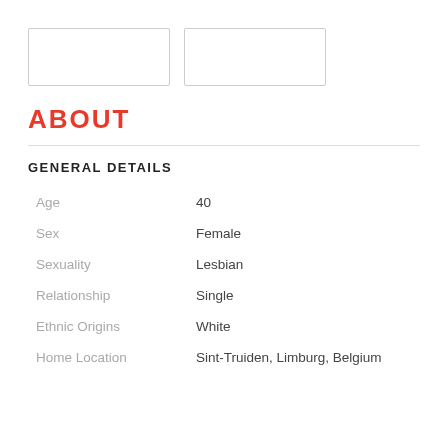[Figure (other): Two empty rectangular input/form boxes side by side]
ABOUT
GENERAL DETAILS
| Age | 40 |
| Sex | Female |
| Sexuality | Lesbian |
| Relationship | Single |
| Ethnic Origins | White |
| Home Location | Sint-Truiden, Limburg, Belgium |